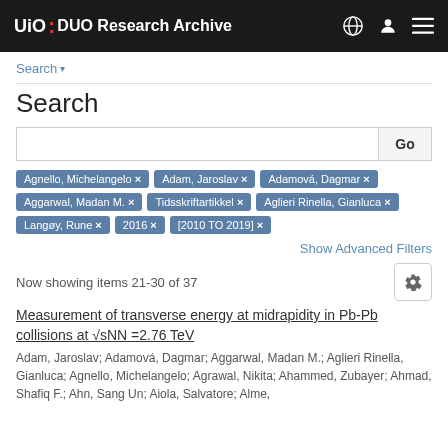UiO DUO Research Archive
Search ▾
Search
Go
Agnello, Michelangelo ×
Adam, Jaroslav ×
Adamová, Dagmar ×
Aggarwal, Madan M. ×
Tidsskriftartikkel ×
Aglieri Rinella, Gianluca ×
Langøy, Rune ×
2016 ×
[2010 TO 2019] ×
Show Advanced Filters
Now showing items 21-30 of 37
Measurement of transverse energy at midrapidity in Pb-Pb collisions at √sNN =2.76 TeV
Adam, Jaroslav; Adamová, Dagmar; Aggarwal, Madan M.; Aglieri Rinella, Gianluca; Agnello, Michelangelo; Agrawal, Nikita; Ahammed, Zubayer; Ahmad, Shafiq F.; Ahn, Sang Un; Aiola, Salvatore; Alme,